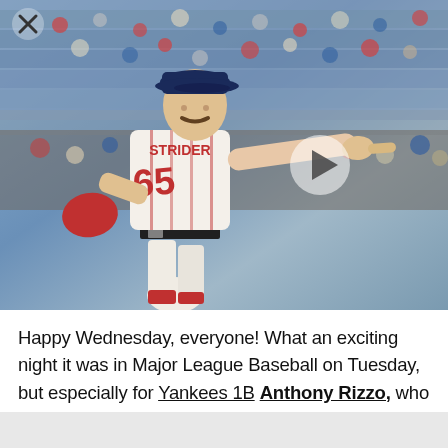[Figure (photo): Atlanta Braves pitcher wearing number 65 jersey (STRIDER) pointing outward with right hand, wearing white uniform with red accents and navy cap with A logo, holding red glove, crowd in background at baseball stadium. Play button overlay visible.]
Happy Wednesday, everyone! What an exciting night it was in Major League Baseball on Tuesday, but especially for Yankees 1B Anthony Rizzo, who did something for the first time in his career. Rizzo went yard not once, not twice, but three times.